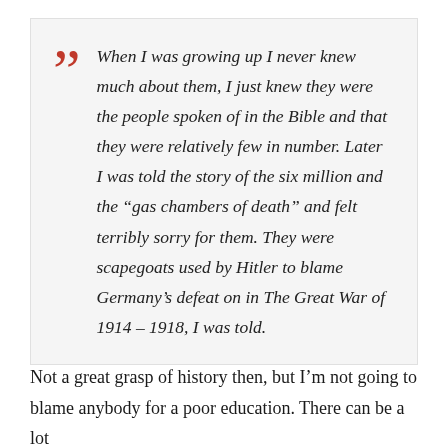When I was growing up I never knew much about them, I just knew they were the people spoken of in the Bible and that they were relatively few in number. Later I was told the story of the six million and the “gas chambers of death” and felt terribly sorry for them. They were scapegoats used by Hitler to blame Germany’s defeat on in The Great War of 1914 – 1918, I was told.
Not a great grasp of history then, but I’m not going to blame anybody for a poor education. There can be a lot